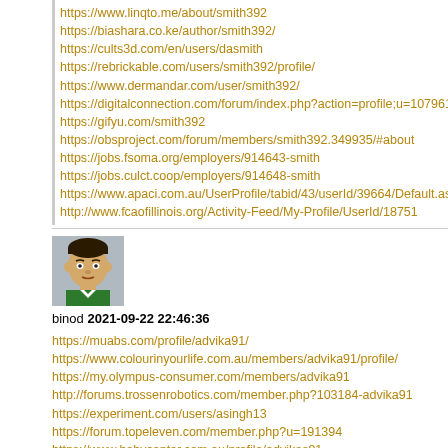https://www.linqto.me/about/smith392
https://biashara.co.ke/author/smith392/
https://cults3d.com/en/users/dasmith
https://rebrickable.com/users/smith392/profile/
https://www.dermandar.com/user/smith392/
https://digitalconnection.com/forum/index.php?action=profile;u=1079619
https://gifyu.com/smith392
https://obsproject.com/forum/members/smith392.349935/#about
https://jobs.fsoma.org/employers/914643-smith
https://jobs.culct.coop/employers/914648-smith
https://www.apaci.com.au/UserProfile/tabid/43/userId/39664/Default.asp
http://www.fcaofillinois.org/Activity-Feed/My-Profile/UserId/18751
[Figure (illustration): Avatar image of user binod - cartoon face illustration]
binod 2021-09-22 22:46:36
https://muabs.com/profile/advika91/
https://www.colourinyourlife.com.au/members/advika91/profile/
https://my.olympus-consumer.com/members/advika91
http://forums.trossenrobotics.com/member.php?103184-advika91
https://experiment.com/users/asingh13
https://forum.topeleven.com/member.php?u=191394
https://www.babycenter.com.au/profile/advikas91
https://uxfol.io/advika9122
https://community.chocolatey.org/profiles/advika91
https://www.smallbusinessforums.org/member.php?148436-advika91
https://www.giantbomb.com/profile/advika91/about-me/